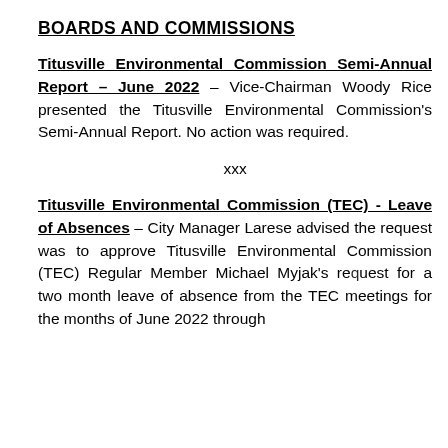BOARDS AND COMMISSIONS
Titusville Environmental Commission Semi-Annual Report – June 2022 – Vice-Chairman Woody Rice presented the Titusville Environmental Commission's Semi-Annual Report. No action was required.
xxx
Titusville Environmental Commission (TEC) - Leave of Absences – City Manager Larese advised the request was to approve Titusville Environmental Commission (TEC) Regular Member Michael Myjak's re[quest for a two] month leave of absence from the TEC [meetings for the months of June 2022 through...]